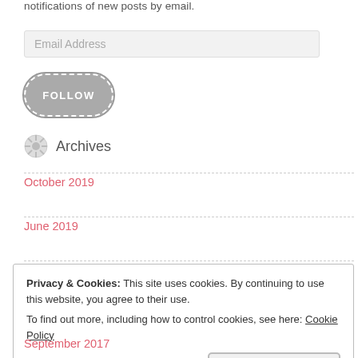notifications of new posts by email.
Email Address
FOLLOW
Archives
October 2019
June 2019
Privacy & Cookies: This site uses cookies. By continuing to use this website, you agree to their use. To find out more, including how to control cookies, see here: Cookie Policy
Close and accept
September 2017